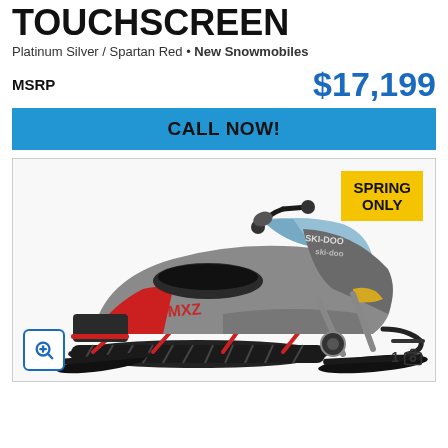TOUCHSCREEN
Platinum Silver / Spartan Red • New Snowmobiles
MSRP  $17,199
CALL NOW!
[Figure (photo): Ski-Doo MXZ snowmobile in Platinum Silver and Spartan Red colorway, shown in profile/three-quarter view on white background. A yellow 'SPRING ONLY' badge is visible in the top right corner of the image frame. A zoom button and image counter (1) with camera icon appear at the bottom of the image frame.]